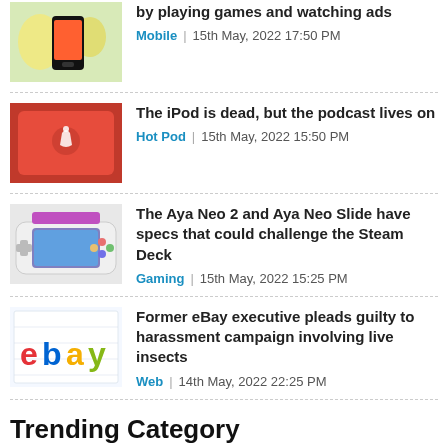by playing games and watching ads | Mobile | 15th May, 2022 17:50 PM
The iPod is dead, but the podcast lives on | Hot Pod | 15th May, 2022 15:50 PM
The Aya Neo 2 and Aya Neo Slide have specs that could challenge the Steam Deck | Gaming | 15th May, 2022 15:25 PM
Former eBay executive pleads guilty to harassment campaign involving live insects | Web | 14th May, 2022 22:25 PM
Trending Category
News (7189)